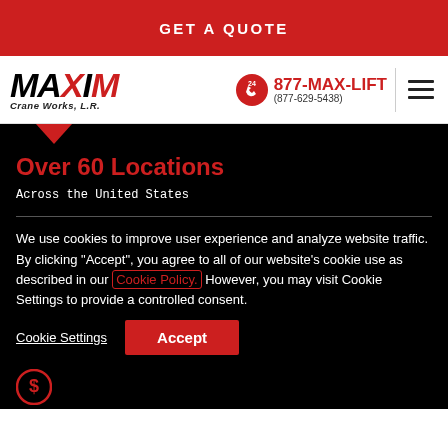GET A QUOTE
[Figure (logo): Maxim Crane Works L.R. logo with red and black text, italic bold style]
877-MAX-LIFT (877-629-5438)
Over 60 Locations
Across the United States
We use cookies to improve user experience and analyze website traffic. By clicking “Accept”, you agree to all of our website's cookie use as described in our Cookie Policy. However, you may visit Cookie Settings to provide a controlled consent.
Cookie Settings
Accept